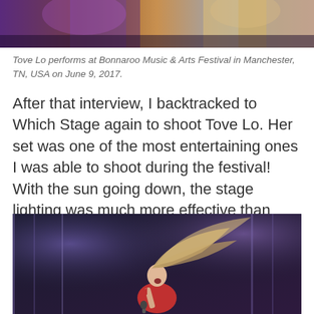[Figure (photo): Top portion of a concert photo showing performer at Bonnaroo Music & Arts Festival, partially cropped at top]
Tove Lo performs at Bonnaroo Music & Arts Festival in Manchester, TN, USA on June 9, 2017.
After that interview, I backtracked to Which Stage again to shoot Tove Lo. Her set was one of the most entertaining ones I was able to shoot during the festival! With the sun going down, the stage lighting was much more effective than before. And she was constantly on the move, which made for a fun shoot!
[Figure (photo): Concert photo of Tove Lo performing on stage, her hair flying wildly as she sings into a microphone, wearing a red outfit, with purple stage lighting in the background]